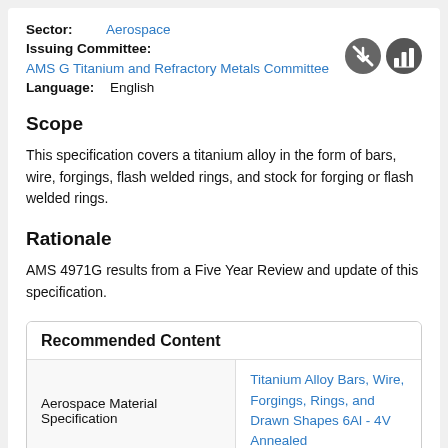Sector: Aerospace
Issuing Committee: AMS G Titanium and Refractory Metals Committee
Language: English
Scope
This specification covers a titanium alloy in the form of bars, wire, forgings, flash welded rings, and stock for forging or flash welded rings.
Rationale
AMS 4971G results from a Five Year Review and update of this specification.
Recommended Content
|  |  |
| --- | --- |
| Aerospace Material Specification | Titanium Alloy Bars, Wire, Forgings, Rings, and Drawn Shapes 6Al - 4V Annealed |